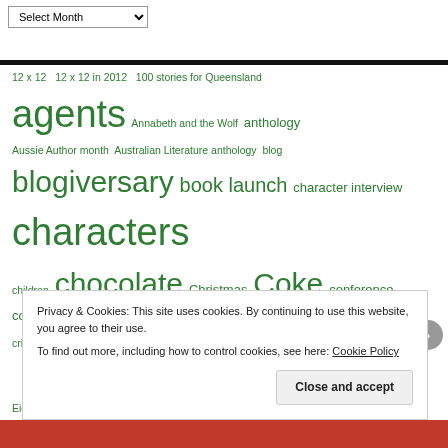Select Month (dropdown)
12 x 12  12 x 12 in 2012  100 stories for Queensland  agents  Annabeth and the Wolf  anthology  Aussie Author month  Australian Literature anthology  blog  blogiversary  book launch  character interview  characters  children  chocolate  Christmas  Coke  conference  contest  critique  critique partner  description  dialogue  editing  Eighty Nine  Facebook  guest post  Helpful sites  inspiration  interview  Julie Hedlund  kidlit  marketing
Privacy & Cookies: This site uses cookies. By continuing to use this website, you agree to their use.
To find out more, including how to control cookies, see here: Cookie Policy
Close and accept